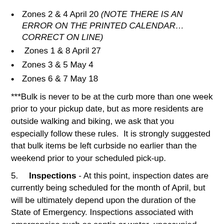Zones 2 & 4 April 20 (NOTE THERE IS AN ERROR ON THE PRINTED CALENDAR…CORRECT ON LINE)
Zones 1 & 8 April 27
Zones 3 & 5 May 4
Zones 6 & 7 May 18
***Bulk is never to be at the curb more than one week prior to your pickup date, but as more residents are outside walking and biking, we ask that you especially follow these rules.  It is strongly suggested that bulk items be left curbside no earlier than the weekend prior to your scheduled pick-up.
5.      Inspections - At this point, inspection dates are currently being scheduled for the month of April, but will be ultimately depend upon the duration of the State of Emergency. Inspections associated with emergencies such as septic or water, unoccupied structures and outdoor facilities which allow for safe distance between residents and inspectors are